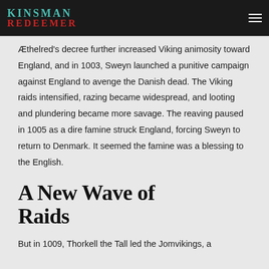Kinsman Redeemer
Æthelred's decree further increased Viking animosity toward England, and in 1003, Sweyn launched a punitive campaign against England to avenge the Danish dead. The Viking raids intensified, razing became widespread, and looting and plundering became more savage. The reaving paused in 1005 as a dire famine struck England, forcing Sweyn to return to Denmark. It seemed the famine was a blessing to the English.
A New Wave of Raids
But in 1009, Thorkell the Tall led the Jomvikings, a